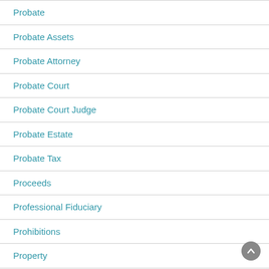Probate
Probate Assets
Probate Attorney
Probate Court
Probate Court Judge
Probate Estate
Probate Tax
Proceeds
Professional Fiduciary
Prohibitions
Property
Property Tax